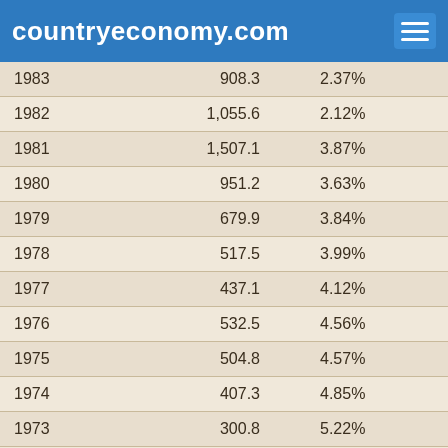countryeconomy.com
| Year | Value | Percent |
| --- | --- | --- |
| 1983 | 908.3 | 2.37% |
| 1982 | 1,055.6 | 2.12% |
| 1981 | 1,507.1 | 3.87% |
| 1980 | 951.2 | 3.63% |
| 1979 | 679.9 | 3.84% |
| 1978 | 517.5 | 3.99% |
| 1977 | 437.1 | 4.12% |
| 1976 | 532.5 | 4.56% |
| 1975 | 504.8 | 4.57% |
| 1974 | 407.3 | 4.85% |
| 1973 | 300.8 | 5.22% |
| 1972 | 242.5 | 5.32% |
| 1971 | 191.2 |  |
| 1970 | 176.7 |  |
| 1969 | 194.9 |  |